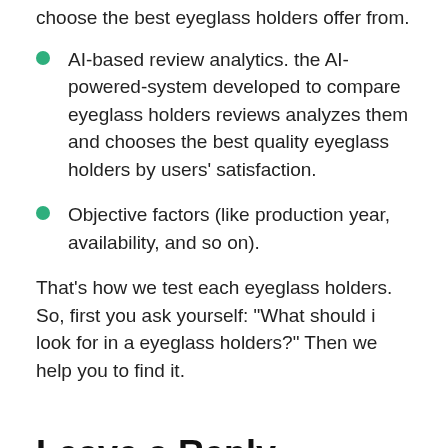choose the best eyeglass holders offer from.
AI-based review analytics. the AI-powered-system developed to compare eyeglass holders reviews analyzes them and chooses the best quality eyeglass holders by users' satisfaction.
Objective factors (like production year, availability, and so on).
That’s how we test each eyeglass holders. So, first you ask yourself: “What should i look for in a eyeglass holders?” Then we help you to find it.
Leave a Reply
Your email address will not be published. Required fields are marked *